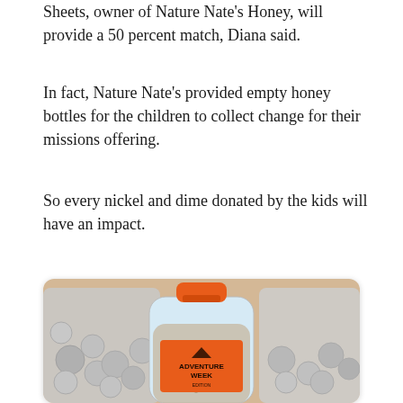Sheets, owner of Nature Nate's Honey, will provide a 50 percent match, Diana said.
In fact, Nature Nate's provided empty honey bottles for the children to collect change for their missions offering.
So every nickel and dime donated by the kids will have an impact.
[Figure (photo): A clear honey bottle with an orange lid and an orange 'Adventure Week' label, filled with coins. Behind it are large plastic bags also filled with coins, all on a table.]